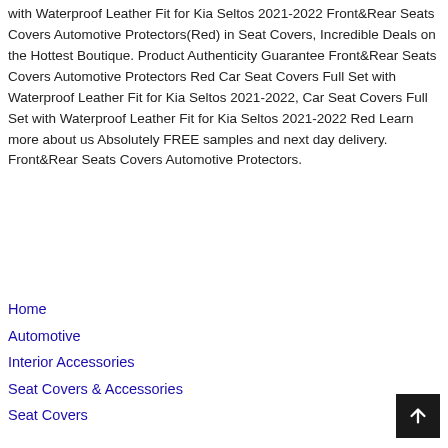with Waterproof Leather Fit for Kia Seltos 2021-2022 Front&Rear Seats Covers Automotive Protectors(Red) in Seat Covers, Incredible Deals on the Hottest Boutique. Product Authenticity Guarantee Front&Rear Seats Covers Automotive Protectors Red Car Seat Covers Full Set with Waterproof Leather Fit for Kia Seltos 2021-2022, Car Seat Covers Full Set with Waterproof Leather Fit for Kia Seltos 2021-2022 Red Learn more about us Absolutely FREE samples and next day delivery. Front&Rear Seats Covers Automotive Protectors.
Home
Automotive
Interior Accessories
Seat Covers & Accessories
Seat Covers